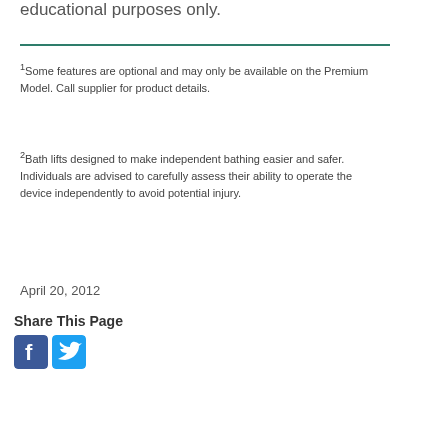educational purposes only.
1Some features are optional and may only be available on the Premium Model. Call supplier for product details.
2Bath lifts designed to make independent bathing easier and safer. Individuals are advised to carefully assess their ability to operate the device independently to avoid potential injury.
April 20, 2012
Share This Page